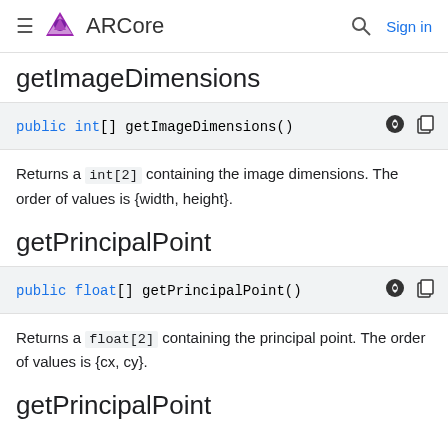ARCore  Sign in
getImageDimensions
public int[] getImageDimensions()
Returns a int[2] containing the image dimensions. The order of values is {width, height}.
getPrincipalPoint
public float[] getPrincipalPoint()
Returns a float[2] containing the principal point. The order of values is {cx, cy}.
getPrincipalPoint